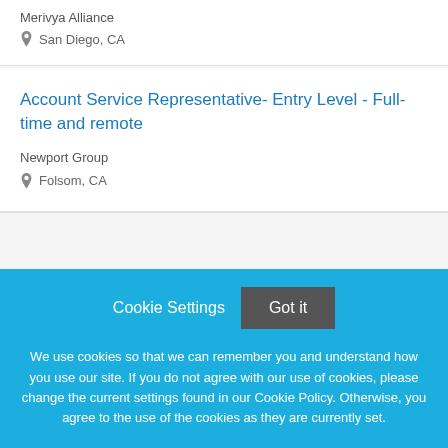Merivya Alliance
San Diego, CA
Account Service Representative- Entry Level - Full-time and remote
Newport Group
Folsom, CA
Cookie Settings  Got it

We use cookies so that we can remember you and understand how you use our site. If you do not agree with our use of cookies, please change the current settings found in our Cookie Policy. Otherwise, you agree to the use of the cookies as they are currently set.